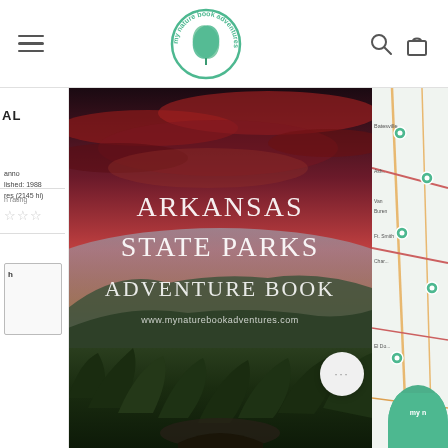my nature book adventures — navigation header with hamburger menu, logo, search and cart icons
[Figure (screenshot): Left sidebar partially visible showing product details: 'AL', 'Published: 1988', 'res (2145 hi)', star rating row, and a small bordered note box]
[Figure (photo): Arkansas State Parks Adventure Book cover — dramatic sunset sky with red/purple clouds over forested Ozark mountains, white serif text reading 'Arkansas State Parks Adventure Book' and 'www.mynaturebookadventures.com']
[Figure (map): Partial Arkansas state map visible on right edge showing roads, pins with teal/green location markers]
[Figure (logo): Partial 'my nature book adventures' green logo watermark in bottom-right corner]